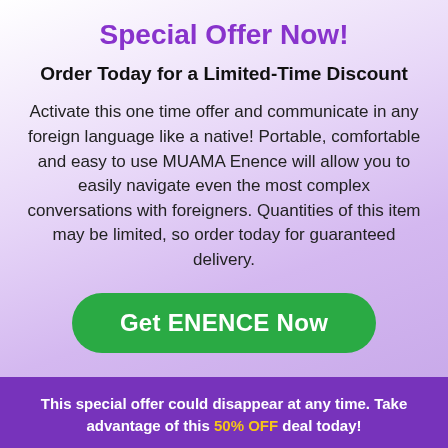Special Offer Now!
Order Today for a Limited-Time Discount
Activate this one time offer and communicate in any foreign language like a native! Portable, comfortable and easy to use MUAMA Enence will allow you to easily navigate even the most complex conversations with foreigners. Quantities of this item may be limited, so order today for guaranteed delivery.
Get ENENCE Now
This special offer could disappear at any time. Take advantage of this 50% OFF deal today!
Instant Two-Way